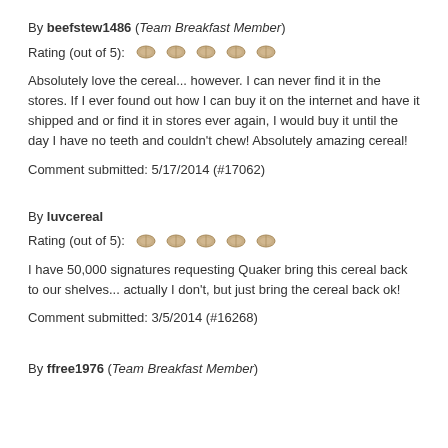By beefstew1486 (Team Breakfast Member)
Rating (out of 5): [5 grain icons]
Absolutely love the cereal... however. I can never find it in the stores. If I ever found out how I can buy it on the internet and have it shipped and or find it in stores ever again, I would buy it until the day I have no teeth and couldn't chew! Absolutely amazing cereal!
Comment submitted: 5/17/2014 (#17062)
By luvcereal
Rating (out of 5): [5 grain icons]
I have 50,000 signatures requesting Quaker bring this cereal back to our shelves... actually I don't, but just bring the cereal back ok!
Comment submitted: 3/5/2014 (#16268)
By ffree1976 (Team Breakfast Member)